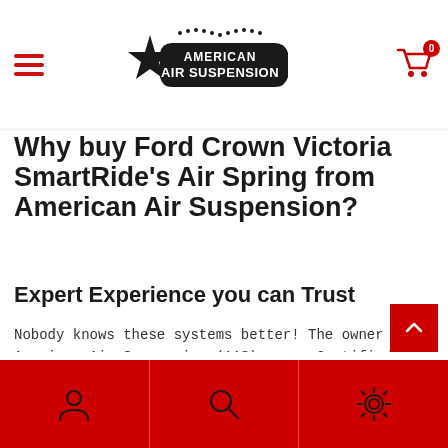American Air Suspension — navigation header with hamburger menu, logo, and cart (0 items)
Why buy Ford Crown Victoria SmartRide's Air Spring from American Air Suspension?
Expert Experience you can Trust
Nobody knows these systems better! The owner of American Air Suspension (AAS) was a Certified Air Suspension Expert for over 20 years. During this time, he quickly learned what were the best parts... and which parts to leave for "the other guys". You can trust AAS to bring you only the best parts available for your car Suspension. Learn More...
Bottom navigation bar with account, search, and settings icons